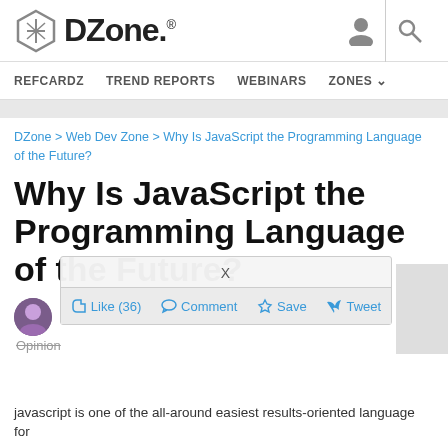DZone. [logo] REFCARDZ   TREND REPORTS   WEBINARS   ZONES
DZone > Web Dev Zone > Why Is JavaScript the Programming Language of the Future?
Why Is JavaScript the Programming Language of the Future?
by Arnab Sarkar MVB · Sep. 11, 16 · Web Dev Zone · Opinion
X
Like (36)   Comment   Save   Tweet
javascript is one of the all-around easiest results-oriented language for